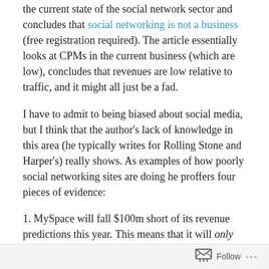the current state of the social network sector and concludes that social networking is not a business (free registration required). The article essentially looks at CPMs in the current business (which are low), concludes that revenues are low relative to traffic, and it might all just be a fad.
I have to admit to being biased about social media, but I think that the author's lack of knowledge in this area (he typically writes for Rolling Stone and Harper's) really shows. As examples of how poorly social networking sites are doing he proffers four pieces of evidence:
1. MySpace will fall $100m short of its revenue predictions this year. This means that it will only do $650m in revenue and only grow revenue by 100% according to Goldman Sach...
Follow ···